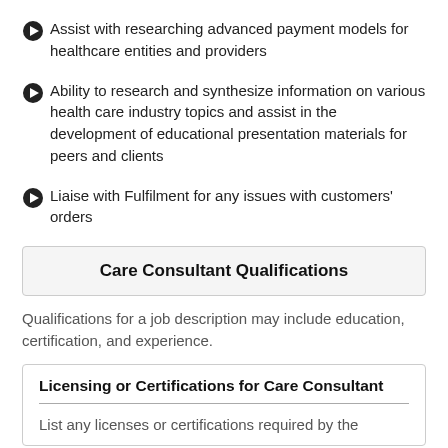Assist with researching advanced payment models for healthcare entities and providers
Ability to research and synthesize information on various health care industry topics and assist in the development of educational presentation materials for peers and clients
Liaise with Fulfilment for any issues with customers' orders
Care Consultant Qualifications
Qualifications for a job description may include education, certification, and experience.
Licensing or Certifications for Care Consultant
List any licenses or certifications required by the